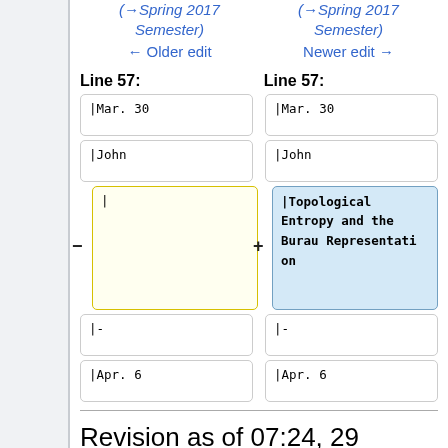(→Spring 2017 Semester)   (→Spring 2017 Semester)
← Older edit   Newer edit →
Line 57:   Line 57:
| Old | New |
| --- | --- |
| |Mar. 30 | |Mar. 30 |
| |John | |John |
| | | |Topological Entropy and the Burau Representation |
| |- | |- |
| |Apr. 6 | |Apr. 6 |
Revision as of 07:24, 29 March 2017